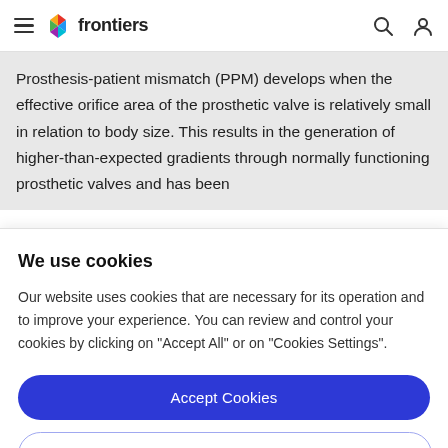frontiers
Prosthesis-patient mismatch (PPM) develops when the effective orifice area of the prosthetic valve is relatively small in relation to body size. This results in the generation of higher-than-expected gradients through normally functioning prosthetic valves and has been
We use cookies
Our website uses cookies that are necessary for its operation and to improve your experience. You can review and control your cookies by clicking on "Accept All" or on "Cookies Settings".
Accept Cookies
Cookies Settings